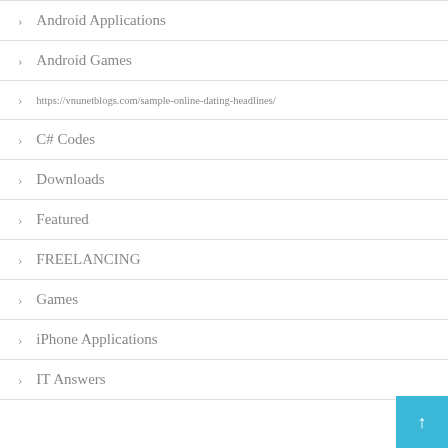Android Applications
Android Games
https://vnunetblogs.com/sample-online-dating-headlines/
C# Codes
Downloads
Featured
FREELANCING
Games
iPhone Applications
IT Answers